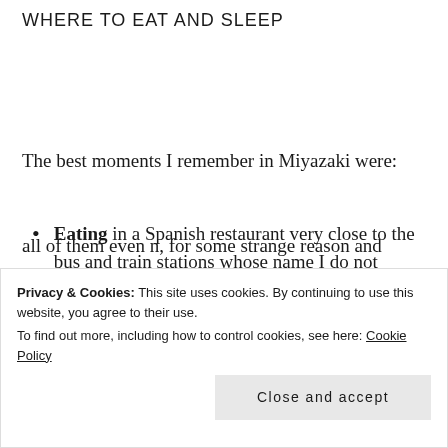WHERE TO EAT AND SLEEP
The best moments I remember in Miyazaki were:
Eating in a Spanish restaurant very close to the bus and train stations whose name I do not remember and I do not know if it will still be open, although none of the workers spoke a
all of them even n, for some strange reason and
Privacy & Cookies: This site uses cookies. By continuing to use this website, you agree to their use. To find out more, including how to control cookies, see here: Cookie Policy
Close and accept